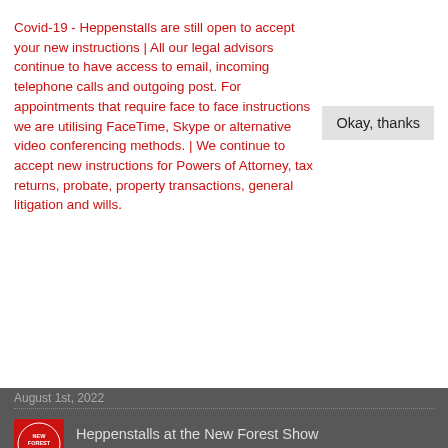Covid-19 - Heppenstalls are still open to accept your new instructions | All our legal advisors continue to have access to email, incoming telephone calls and outgoing post. For appointments that require face to face instructions we are utilising FaceTime, Skype or alternative video conferencing methods. | We continue to accept new instructions for Powers of Attorney, tax returns, probate, property transactions, general litigation and wills.
Okay, thanks
August 1st, 2022
Heppenstalls at the New Forest Show 26th – 28th July 2022
July 18th, 2022
Are you involved in a Trust in anyway?
July 15th, 2022
Contact us
New Milton office:
82 Station Rd,